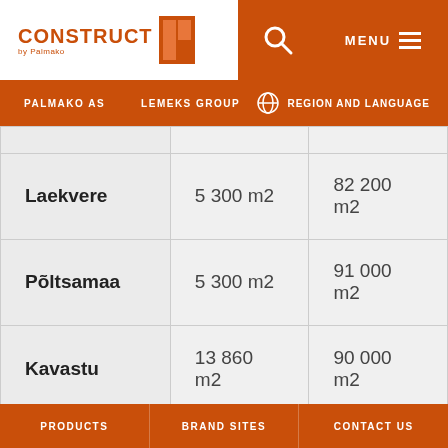[Figure (screenshot): CONSTRUCT by Palmako logo with orange text and icon]
PALMAKO AS   LEMEKS GROUP   REGION AND LANGUAGE
|  |  |  |
| --- | --- | --- |
| Laekvere | 5 300 m2 | 82 200 m2 |
| Põltsamaa | 5 300 m2 | 91 000 m2 |
| Kavastu | 13 860 m2 | 90 000 m2 |
We use cookies on this site to enhance your user experience
By clicking the Accept button, you agree to us doing so. More info
PRODUCTS   BRAND SITES   CONTACT US